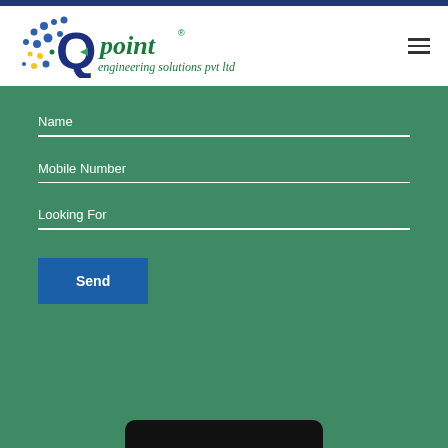Qpoint Engineering Solutions Pvt Ltd - website screenshot
[Figure (logo): Qpoint Engineering Solutions Pvt Ltd logo with colorful dots, a Q with green arrow, and cursive text]
Name
Mobile Number
Looking For
Send